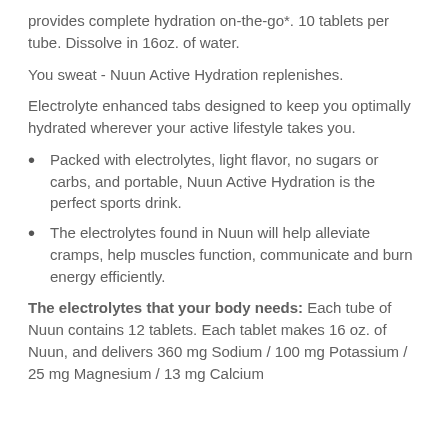provides complete hydration on-the-go*. 10 tablets per tube. Dissolve in 16oz. of water.
You sweat - Nuun Active Hydration replenishes.
Electrolyte enhanced tabs designed to keep you optimally hydrated wherever your active lifestyle takes you.
Packed with electrolytes, light flavor, no sugars or carbs, and portable, Nuun Active Hydration is the perfect sports drink.
The electrolytes found in Nuun will help alleviate cramps, help muscles function, communicate and burn energy efficiently.
The electrolytes that your body needs: Each tube of Nuun contains 12 tablets. Each tablet makes 16 oz. of Nuun, and delivers 360 mg Sodium / 100 mg Potassium / 25 mg Magnesium / 13 mg Calcium